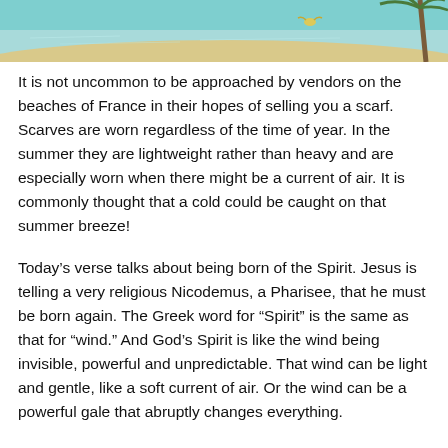[Figure (illustration): Partial view of a beach scene illustration — turquoise ocean water, sandy shore, palm tree on the right edge, and a small bird or figure in the middle area.]
It is not uncommon to be approached by vendors on the beaches of France in their hopes of selling you a scarf. Scarves are worn regardless of the time of year. In the summer they are lightweight rather than heavy and are especially worn when there might be a current of air. It is commonly thought that a cold could be caught on that summer breeze!
Today's verse talks about being born of the Spirit. Jesus is telling a very religious Nicodemus, a Pharisee, that he must be born again. The Greek word for “Spirit” is the same as that for “wind.” And God’s Spirit is like the wind being invisible, powerful and unpredictable. That wind can be light and gentle, like a soft current of air. Or the wind can be a powerful gale that abruptly changes everything.